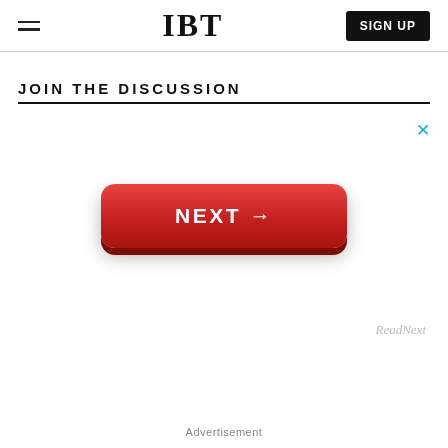IBT  SIGN UP
JOIN THE DISCUSSION
[Figure (other): Advertisement area with a red NEXT button and a blue close X, with ReadNext label below the button]